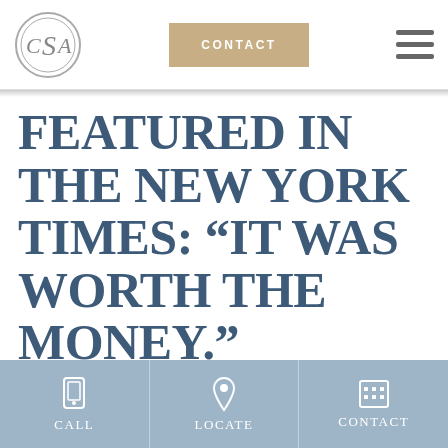[Figure (logo): CSA circular logo with letters C, S, A inside a double-ring circle]
CONTACT
FEATURED IN THE NEW YORK TIMES: “IT WAS WORTH THE MONEY.”
Conveniently located to serve the areas of Maryland, Virginia and Washington, D.C.
CALL  LOCATE  CONTACT